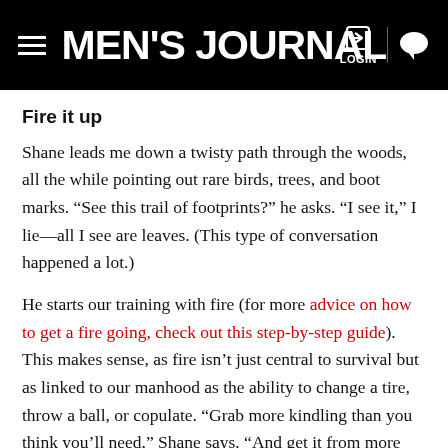MEN'S JOURNAL
Fire it up
Shane leads me down a twisty path through the woods, all the while pointing out rare birds, trees, and boot marks. “See this trail of footprints?” he asks. “I see it,” I lie—all I see are leaves. (This type of conversation happened a lot.)
He starts our training with fire (for more advice on how to get a fire going, check out this step-by-step guide). This makes sense, as fire isn’t just central to survival but as linked to our manhood as the ability to change a tire, throw a ball, or copulate. “Grab more kindling than you think you’ll need,” Shane says. “And get it from more than 100 yards away from your shelter—that